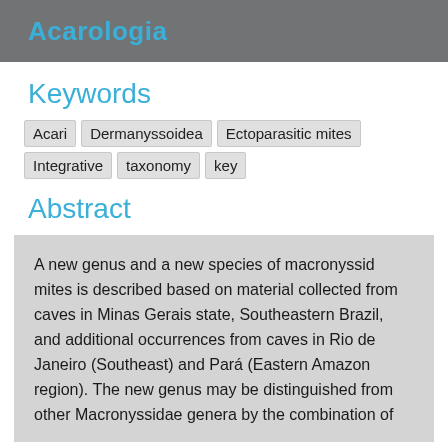Acarologia
Keywords
Acari
Dermanyssoidea
Ectoparasitic mites
Integrative taxonomy
key
Abstract
A new genus and a new species of macronyssid mites is described based on material collected from caves in Minas Gerais state, Southeastern Brazil, and additional occurrences from caves in Rio de Janeiro (Southeast) and Pará (Eastern Amazon region). The new genus may be distinguished from other Macronyssidae genera by the combination of